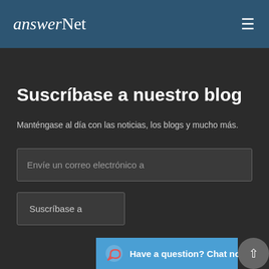answerNet
Suscríbase a nuestro blog
Manténgase al día con las noticias, los blogs y mucho más.
Envíe un correo electrónico a
Suscríbase a
Have a question? Chat now!